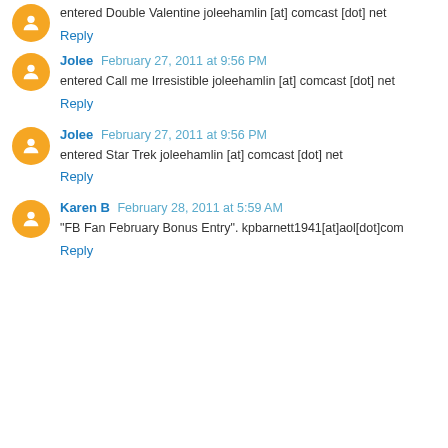entered Double Valentine joleehamlin [at] comcast [dot] net
Reply
Jolee  February 27, 2011 at 9:56 PM
entered Call me Irresistible joleehamlin [at] comcast [dot] net
Reply
Jolee  February 27, 2011 at 9:56 PM
entered Star Trek joleehamlin [at] comcast [dot] net
Reply
Karen B  February 28, 2011 at 5:59 AM
"FB Fan February Bonus Entry". kpbarnett1941[at]aol[dot]com
Reply